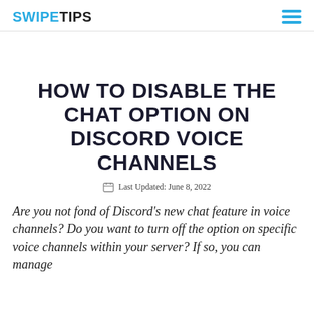SWIPETIPS
HOW TO DISABLE THE CHAT OPTION ON DISCORD VOICE CHANNELS
Last Updated: June 8, 2022
Are you not fond of Discord's new chat feature in voice channels? Do you want to turn off the option on specific voice channels within your server? If so, you can manage